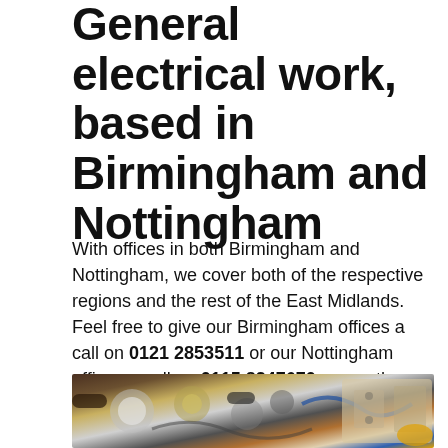General electrical work, based in Birmingham and Nottingham
With offices in both Birmingham and Nottingham, we cover both of the respective regions and the rest of the East Midlands. Feel free to give our Birmingham offices a call on 0121 2853511 or our Nottingham offices a call on 0115 8247670 or use the contact details down below.
[Figure (photo): Photo of electrical tools and components including light bulbs, wire connectors, screws, circuit components, and blue tape on a wooden surface, with electrical sockets visible on the right side.]